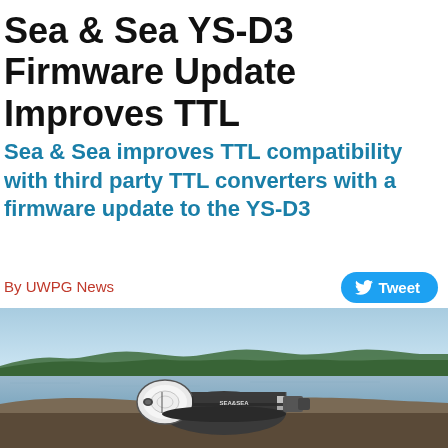Sea & Sea YS-D3 Firmware Update Improves TTL
Sea & Sea improves TTL compatibility with third party TTL converters with a firmware update to the YS-D3
By UWPG News
[Figure (photo): Sea & Sea YS-D3 Lightning strobe unit photographed outdoors on a rock with a lake and treeline in the background under a blue sky]